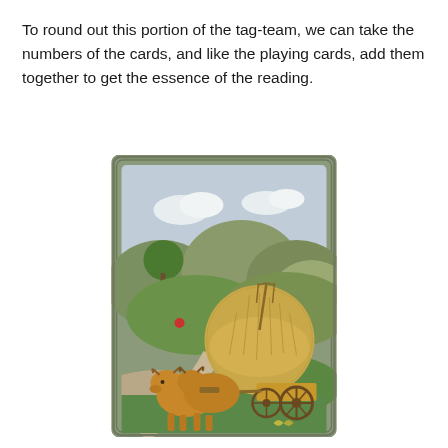To round out this portion of the tag-team, we can take the numbers of the cards, and like the playing cards, add them together to get the essence of the reading.
[Figure (illustration): A tarot-style card numbered 10 with the letter K in the upper right corner. The card depicts two oxen pulling a cart loaded with a large round haystack, set against a pastoral landscape with rolling green hills, trees, a winding road, and a partly cloudy sky. A pitchfork is visible stuck into the hay.]